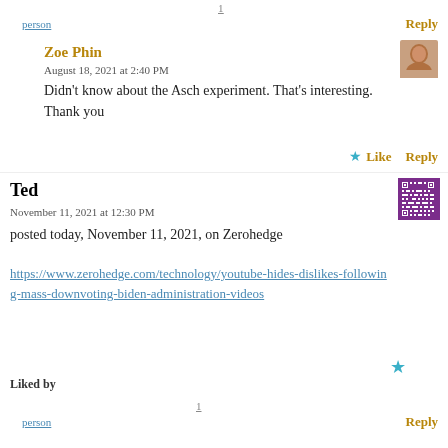1
person
Reply
Zoe Phin
August 18, 2021 at 2:40 PM
Didn’t know about the Asch experiment. That’s interesting. Thank you
★ Like  Reply
Ted
November 11, 2021 at 12:30 PM
posted today, November 11, 2021, on Zerohedge
https://www.zerohedge.com/technology/youtube-hides-dislikes-following-mass-downvoting-biden-administration-videos
★
Liked by
1
person
Reply